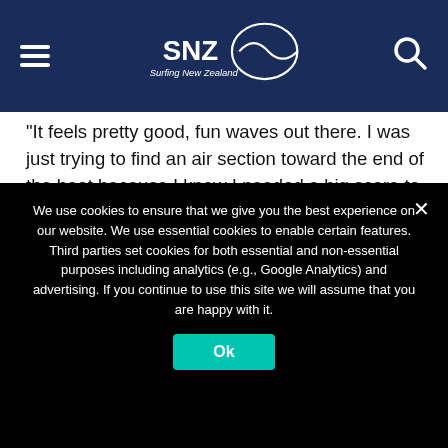Surfing New Zealand
“It feels pretty good, fun waves out there.  I was just trying to find an air section toward the end of the heat because I knew I needed a big score to win” said Whiteside of his strategy.
“I just tried to stick the air and stay over it, I was stoked with the score” he added in regards to the nine point ride.
We use cookies to ensure that we give you the best experience on our website. We use essential cookies to enable certain features. Third parties set cookies for both essential and non-essential purposes including analytics (e.g., Google Analytics) and advertising. If you continue to use this site we will assume that you are happy with it.